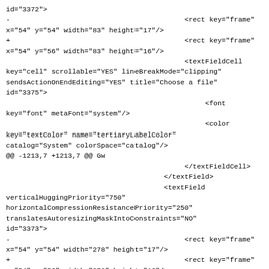id="3372">
-                                          <rect key="frame"
x="54" y="54" width="83" height="17"/>
+                                          <rect key="frame"
x="54" y="56" width="83" height="16"/>
                                           <textFieldCell
key="cell" scrollable="YES" lineBreakMode="clipping"
sendsActionOnEndEditing="YES" title="Choose a file"
id="3375">
                                                <font
key="font" metaFont="system"/>
                                                <color
key="textColor" name="tertiaryLabelColor"
catalog="System" colorSpace="catalog"/>
@@ -1213,7 +1213,7 @@ Gw
                                           </textFieldCell>
                                      </textField>
                                      <textField
verticalHuggingPriority="750"
horizontalCompressionResistancePriority="250"
translatesAutoresizingMaskIntoConstraints="NO"
id="3373">
-                                          <rect key="frame"
x="54" y="54" width="278" height="17"/>
+                                          <rect key="frame"
x="54" y="56" width="278" height="16"/>
                                           <textFieldCell
key="cell" scrollable="YES" lineBreakMode="clipping"
sendsActionOnEndEditing="YES" title="bla bla bla.movbla
bla bla.movbla bla bla.mov" id="3374">